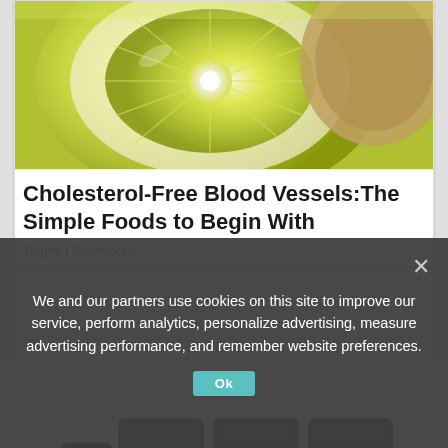[Figure (photo): Close-up photo of sliced citrus fruit (lemon/grapefruit), showing yellow-green flesh and white pith, cut in half]
Cholesterol-Free Blood Vessels:The Simple Foods to Begin With
Tibgez | Sponsored
[Figure (photo): Photo of a grey/charcoal three-seat sofa with cushioned back, viewed from the front, on a white background]
We and our partners use cookies on this site to improve our service, perform analytics, personalize advertising, measure advertising performance, and remember website preferences.